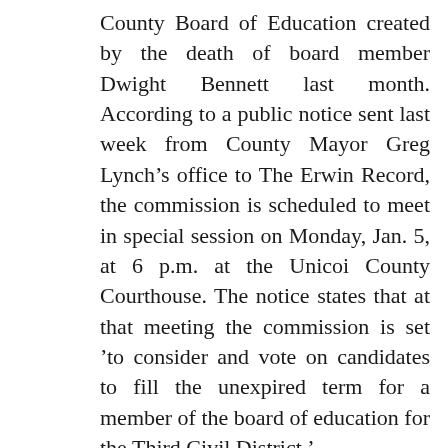County Board of Education created by the death of board member Dwight Bennett last month. According to a public notice sent last week from County Mayor Greg Lynchs office to The Erwin Record, the commission is scheduled to meet in special session on Monday, Jan. 5, at 6 p.m. at the Unicoi County Courthouse. The notice states that at that meeting the commission is set to consider and vote on candidates to fill the unexpired term for a member of the board of education for the Third Civil District. Also during the Jan. 5 meeting, the commission is set to consider and adopt rules of procedure for eliminating nominees in case of multiple nominations to this position. In order to be considered for the position, registered voters of the Third District should submit his or her name to the county legislative body for consideration. The names may be submitted in